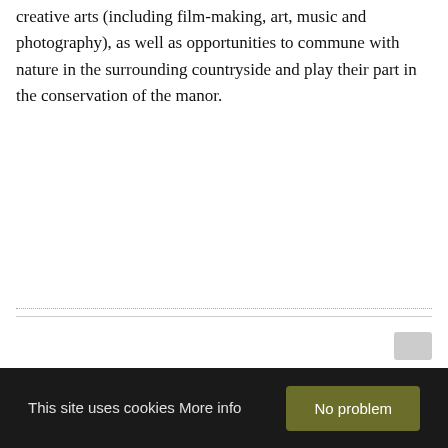creative arts (including film-making, art, music and photography), as well as opportunities to commune with nature in the surrounding countryside and play their part in the conservation of the manor.
This site uses cookies More info
No problem